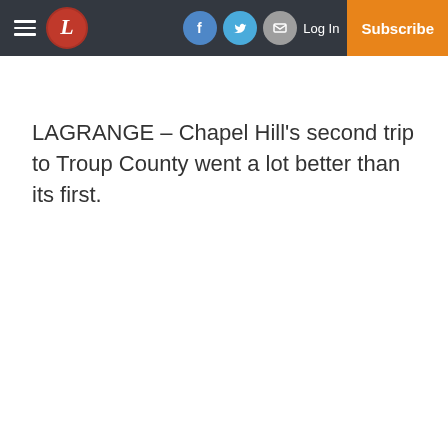LaGrange Daily News – navigation bar with hamburger menu, L logo, Facebook, Twitter, Email icons, Log In, Subscribe
LAGRANGE – Chapel Hill's second trip to Troup County went a lot better than its first.